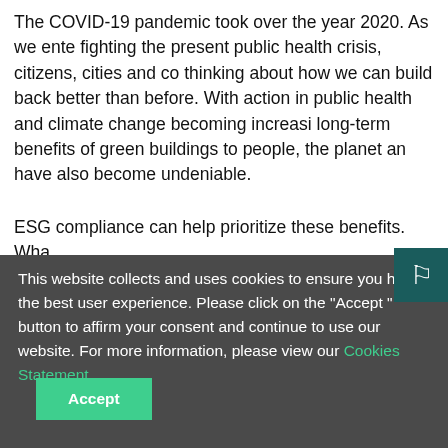The COVID-19 pandemic took over the year 2020. As we enter fighting the present public health crisis, citizens, cities and co thinking about how we can build back better than before. With action in public health and climate change becoming increasi long-term benefits of green buildings to people, the planet an have also become undeniable.
ESG compliance can help prioritize these benefits. Wha
This website collects and uses cookies to ensure you have the best user experience. Please click on the "Accept " button to affirm your consent and continue to use our website. For more information, please view our Cookies Statement.